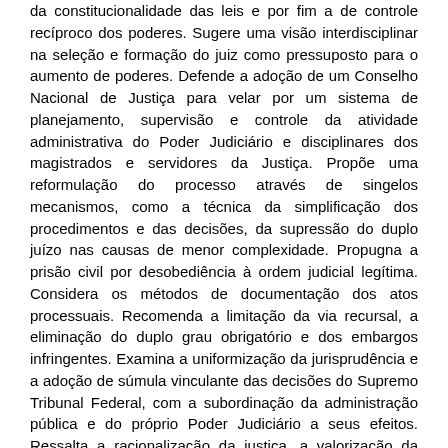da constitucionalidade das leis e por fim a de controle recíproco dos poderes. Sugere uma visão interdisciplinar na seleção e formação do juiz como pressuposto para o aumento de poderes. Defende a adoção de um Conselho Nacional de Justiça para velar por um sistema de planejamento, supervisão e controle da atividade administrativa do Poder Judiciário e disciplinares dos magistrados e servidores da Justiça. Propõe uma reformulação do processo através de singelos mecanismos, como a técnica da simplificação dos procedimentos e das decisões, da supressão do duplo juízo nas causas de menor complexidade. Propugna a prisão civil por desobediência à ordem judicial legítima. Considera os métodos de documentação dos atos processuais. Recomenda a limitação da via recursal, a eliminação do duplo grau obrigatório e dos embargos infringentes. Examina a uniformização da jurisprudência e a adoção de súmula vinculante das decisões do Supremo Tribunal Federal, com a subordinação da administração pública e do próprio Poder Judiciário a seus efeitos. Ressalta a racionalização da justiça, a valorização da primeira instância, a fim de viabilizar a celeridade da prestação da tutela jurisdicional.
Abstract: The research establishes the lack of credibility in the Judiciary Power as a starting point, which does not get to solve the